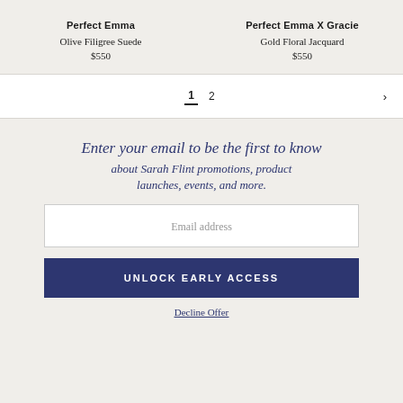Perfect Emma
Olive Filigree Suede
$550
Perfect Emma X Gracie
Gold Floral Jacquard
$550
1  2  ›
Enter your email to be the first to know about Sarah Flint promotions, product launches, events, and more.
Email address
UNLOCK EARLY ACCESS
Decline Offer